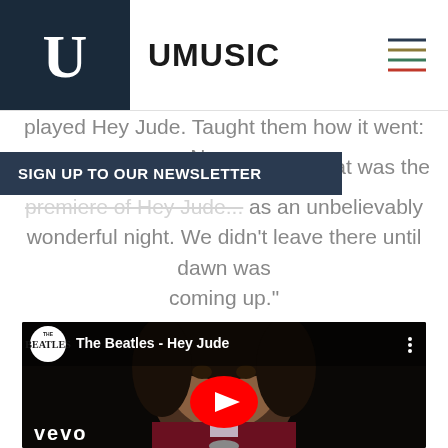UMUSIC
played Hey Jude. Taught them how it went: Na, na, na... e all at it! That was the premiere of Hey Jude... as an unbelievably wonderful night. We didn't leave there until dawn was coming up.”
SIGN UP TO OUR NEWSLETTER
[Figure (screenshot): YouTube video embed showing The Beatles - Hey Jude music video thumbnail with a young man in a burgundy jacket, Beatles logo circle, play button overlay, and vevo watermark]